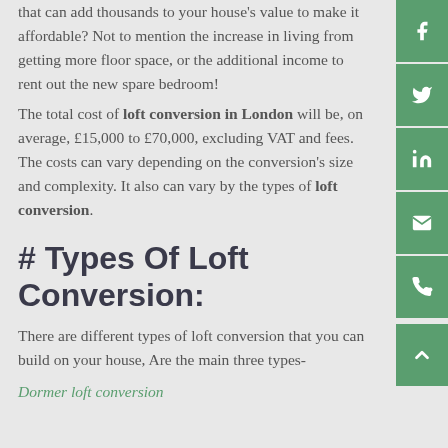that can add thousands to your house's value to make it affordable? Not to mention the increase in living from getting more floor space, or the additional income to rent out the new spare bedroom!
The total cost of loft conversion in London will be, on average, £15,000 to £70,000, excluding VAT and fees. The costs can vary depending on the conversion's size and complexity. It also can vary by the types of loft conversion.
# Types Of Loft Conversion:
There are different types of loft conversion that you can build on your house, Are the main three types-
Dormer loft conversion